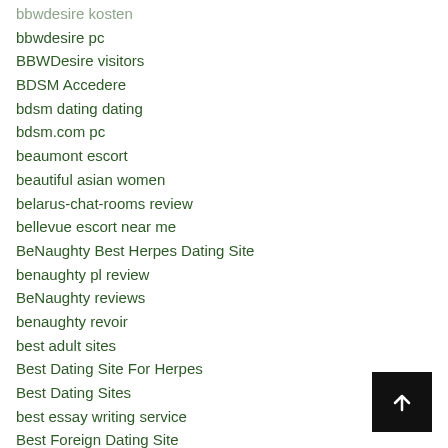bbwdesire kosten
bbwdesire pc
BBWDesire visitors
BDSM Accedere
bdsm dating dating
bdsm.com pc
beaumont escort
beautiful asian women
belarus-chat-rooms review
bellevue escort near me
BeNaughty Best Herpes Dating Site
benaughty pl review
BeNaughty reviews
benaughty revoir
best adult sites
Best Dating Site For Herpes
Best Dating Sites
best essay writing service
Best Foreign Dating Site
Best Friend Dating Site